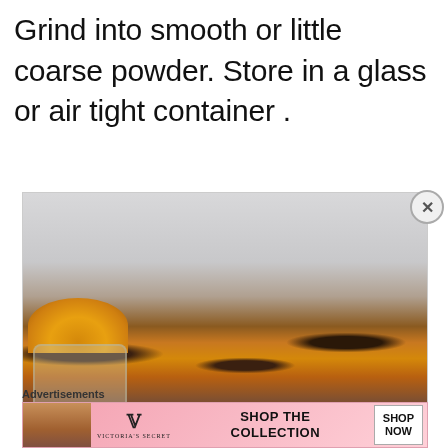Grind into smooth or little coarse powder. Store in a glass or air tight container .
[Figure (photo): A glass jar filled with golden-yellow spice powder (curry/turmeric) surrounded by dried dark chilies and spices on a plate, photographed on a light gray background.]
Advertisements
[Figure (other): Victoria's Secret advertisement banner with model, VS logo, text 'SHOP THE COLLECTION', and 'SHOP NOW' button.]